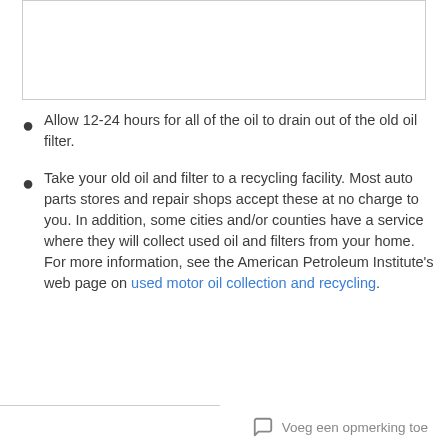[Figure (other): Empty white image/content box with border]
Allow 12-24 hours for all of the oil to drain out of the old oil filter.
Take your old oil and filter to a recycling facility. Most auto parts stores and repair shops accept these at no charge to you. In addition, some cities and/or counties have a service where they will collect used oil and filters from your home. For more information, see the American Petroleum Institute's web page on used motor oil collection and recycling.
Voeg een opmerking toe